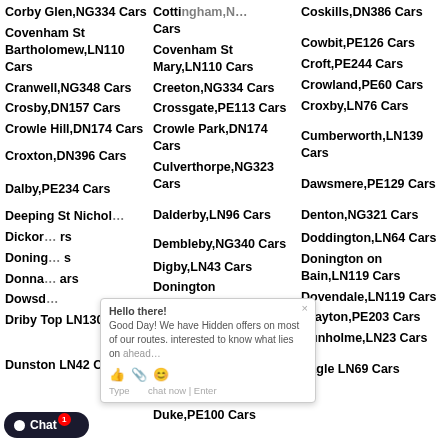Corby Glen,NG334 Cars
Cottingham,N... Cars
Coskills,DN386 Cars
Covenham St Bartholomew,LN110 Cars
Covenham St Mary,LN110 Cars
Cowbit,PE126 Cars
Cranwell,NG348 Cars
Creeton,NG334 Cars
Croft,PE244 Cars
Crosby,DN157 Cars
Crossgate,PE113 Cars
Crowland,PE60 Cars
Crowle Hill,DN174 Cars
Crowle Park,DN174 Cars
Croxby,LN76 Cars
Croxton,DN396 Cars
Culverthorpe,NG323 Cars
Cumberland,LN139 Cars
Dalby,PE234 Cars
Dalderby,LN96 Cars
Dawsmere,PE129 Cars
Deeping St Nichol...
Dembleby,NG340 Cars
Denton,NG321 Cars
Dickson... Cars
Digby,LN43 Cars
Doddington,LN64 Cars
Doning... Cars
Donington Eaudike,PE203 Cars
Donington on Bain,LN119 Cars
Donna... Cars
Dorrington,LN43 Cars
Dovendale,LN119 Cars
Dowsd...
Dragonby,DN150 Cars
Drayton,PE203 Cars
Driby Top LN130 Cars
Dry Doddington,NG235 Cars
Dunholme,LN23 Cars
Dunston LN42 Cars
Duke,PE100 Cars
Eagle LN69 Cars